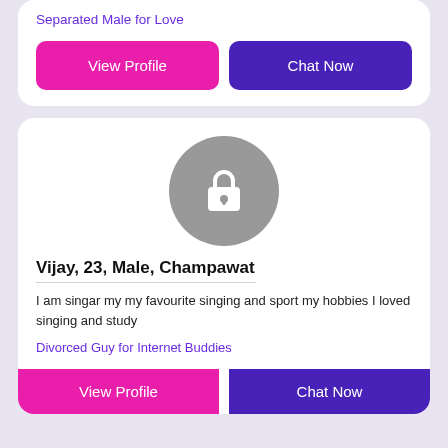Separated Male for Love
View Profile
Chat Now
[Figure (illustration): Gray circle with a white padlock icon in the center, representing a locked/private profile photo]
Vijay, 23, Male, Champawat
I am singar my my favourite singing and sport my hobbies I loved singing and study
Divorced Guy for Internet Buddies
View Profile
Chat Now